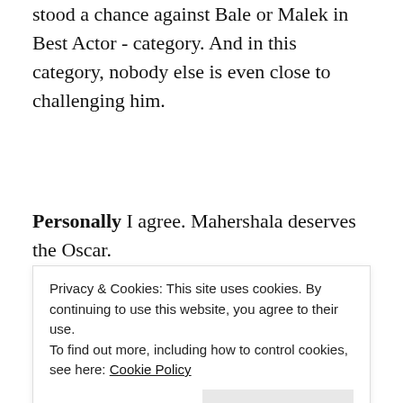stood a chance against Bale or Malek in Best Actor - category. And in this category, nobody else is even close to challenging him.
Personally I agree. Mahershala deserves the Oscar.
Best supporting actress
[Figure (photo): Photograph of a person, partially visible, with ornate architectural background and dark wood tones.]
Privacy & Cookies: This site uses cookies. By continuing to use this website, you agree to their use.
To find out more, including how to control cookies, see here: Cookie Policy
[Close and accept]